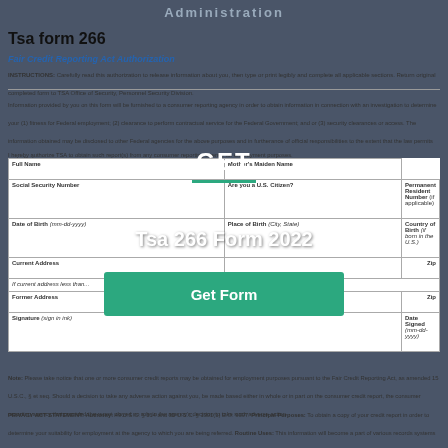Administration
Tsa form 266
Fair Credit Reporting Act Authorization
INSTRUCTIONS: Carefully read this authorization to release information about you, then type or print legibly and complete all applicable sections. Return original completed form to TSA Office of Security, Personnel Security Division.
Information provided by you on this form will be furnished to a consumer reporting agency in order to obtain information in connection with an investigation to determine your (1) fitness for Federal employment; (2) clearance to perform contractual service for the Federal Government; and or (3) security clearances or access. The information obtained may be disclosed to other Federal agencies for the above purposes and in furtherance of official responsibilities to the extent that the law permits such disclosure.
I hereby authorize TSA to obtain such report(s) from any consumer reporting agency for employment purposes.
| Full Name | Mother's Maiden Name |
| --- | --- |
|  |  |
| Social Security Number | Are you a U.S. Citizen? | Permanent Resident Number (if applicable) |
| Date of Birth (mm-dd-yyyy) | Place of Birth (City, State) | Country of Birth (if born in the U.S.) |
| Current Address |  |  | Zip |
| If current address less than... |  |  |  |
| Former Address |  |  | Zip |
| Signature (sign in ink) |  | Date Signed (mm-dd-yyyy) |  |
Note: Please take notice that one or more consumer credit reports may be obtained for employment purposes pursuant to the Fair Credit Reporting Act, as amended 15 U.S.C., § et seq. Should a decision to take any adverse action against you, be made based either in whole or in part on the consumer credit report, the consumer reporting agency that provided the report played no role in the agency's decision to take such adverse action.
PRIVACY ACT STATEMENT: Authority: 49 U.S.C. § 114 and 35 U.S.C. § 1301(1) E.O. 9397. Principal Purposes: To obtain a copy of your credit report in order to determine your suitability for employment at the agency to which you are being referred. Routine Uses: This information will become a part of various records systems for the agency to which you are being referred.